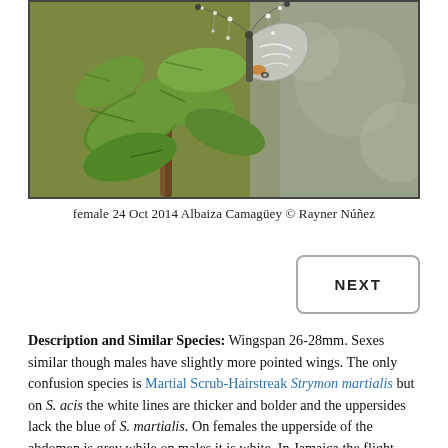[Figure (photo): Close-up photograph of a butterfly (female) perched on green leafy plant stems with dewdrop-covered antennae, bokeh background, taken 24 Oct 2014 at Albaiza Camagüey, Cuba. Photo by Rayner Núñez.]
female 24 Oct 2014 Albaiza Camagüey © Rayner Núñez
NEXT (button)
Description and Similar Species: Wingspan 26-28mm. Sexes similar though males have slightly more pointed wings. The only confusion species is Martial Scrub-Hairstreak Strymon martialis but on S. acis the white lines are thicker and bolder and the uppersides lack the blue of S. martialis. On females the upperside of the abdomen is grey while on males it is white. In Jamaica the flight time is said to be June to August (Smith, Miller & Miller). It has a fast and rapid flight but like many Hairstreaks it can be